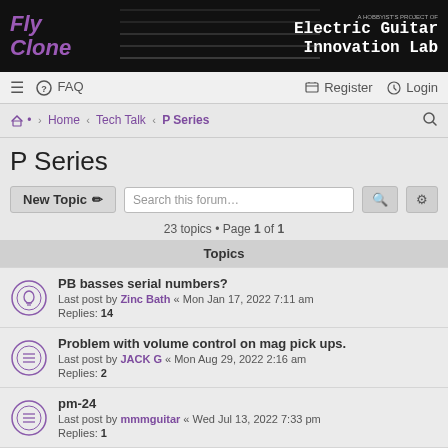[Figure (logo): Fly Clone forum banner with purple logo text on black background and 'Electric Guitar Innovation Lab' text on right]
≡  FAQ    Register  Login
Home › Tech Talk › P Series
P Series
New Topic   Search this forum…
23 topics • Page 1 of 1
Topics
PB basses serial numbers?
Last post by Zinc Bath « Mon Jan 17, 2022 7:11 am
Replies: 14
Problem with volume control on mag pick ups.
Last post by JACK G « Mon Aug 29, 2022 2:16 am
Replies: 2
pm-24
Last post by mmmguitar « Wed Jul 13, 2022 7:33 pm
Replies: 1
P38 round vibrato arm.
Last post by JACK G « Sun Jul 03, 2022 1:45 am
Replies: 2